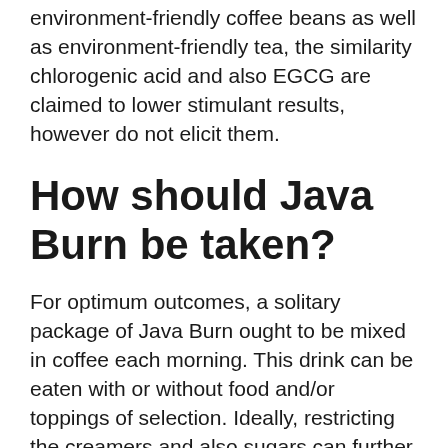environment-friendly coffee beans as well as environment-friendly tea, the similarity chlorogenic acid and also EGCG are claimed to lower stimulant results, however do not elicit them.
How should Java Burn be taken?
For optimum outcomes, a solitary package of Java Burn ought to be mixed in coffee each morning. This drink can be eaten with or without food and/or toppings of selection. Ideally, restricting the creamers and also sugars can further improve weight management outcomes.
Is Java Burn safe?